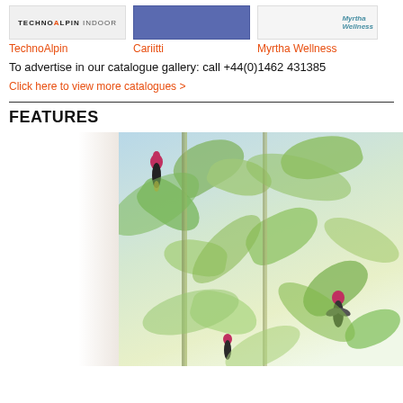[Figure (photo): TechnoAlpin Indoor catalogue thumbnail - light grey background with TechnoAlpin Indoor logo text]
TechnoAlpin
[Figure (photo): Cariitti catalogue thumbnail - solid blue/purple rectangle]
Cariitti
[Figure (photo): Myrtha Wellness catalogue thumbnail - white background with Myrtha Wellness logo]
Myrtha Wellness
To advertise in our catalogue gallery: call +44(0)1462 431385
Click here to view more catalogues >
FEATURES
[Figure (photo): Tropical botanical wallpaper featuring painted birds (hummingbirds/sunbirds with pink heads and dark bodies) among green tropical leaves and bamboo branches on a light blue-green background. Photo shows the wallpaper installed in an interior room with white wall to the left.]